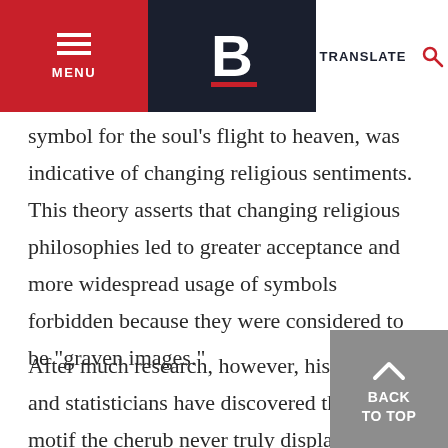MENU | B | TRANSLATE
symbol for the soul's flight to heaven, was indicative of changing religious sentiments. This theory asserts that changing religious philosophies led to greater acceptance and more widespread usage of symbols forbidden because they were considered to be "graven images."
After much research, however, historians and statisticians have discovered that as a motif the cherub never truly displaced